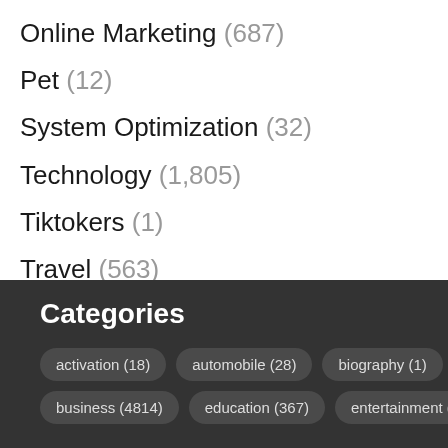Online Marketing (687)
Pet (12)
System Optimization (32)
Technology (1,805)
Tiktokers (1)
Travel (563)
Hotels (6)
Uncategorized (1,401)
Categories
activation (18)
automobile (28)
biography (1)
business (4814)
education (367)
entertainment (44)